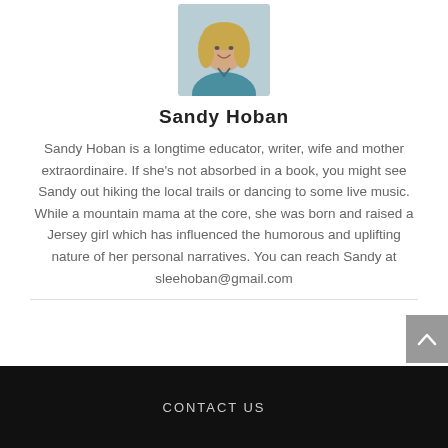[Figure (photo): Headshot photo of Sandy Hoban, a woman with blonde wavy hair wearing a teal/blue patterned top, smiling]
Sandy Hoban
Sandy Hoban is a longtime educator, writer, wife and mother extraordinaire. If she’s not absorbed in a book, you might see Sandy out hiking the local trails or dancing to some live music. While a mountain mama at the core, she was born and raised a Jersey girl which has influenced the humorous and uplifting nature of her personal narratives. You can reach Sandy at sleehoban@gmail.com
CONTACT US